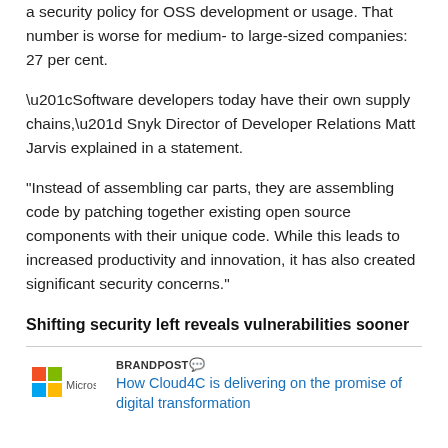a security policy for OSS development or usage. That number is worse for medium- to large-sized companies: 27 per cent.
“Software developers today have their own supply chains,” Snyk Director of Developer Relations Matt Jarvis explained in a statement.
"Instead of assembling car parts, they are assembling code by patching together existing open source components with their unique code. While this leads to increased productivity and innovation, it has also created significant security concerns."
Shifting security left reveals vulnerabilities sooner
BRANDPOST💬 How Cloud4C is delivering on the promise of digital transformation